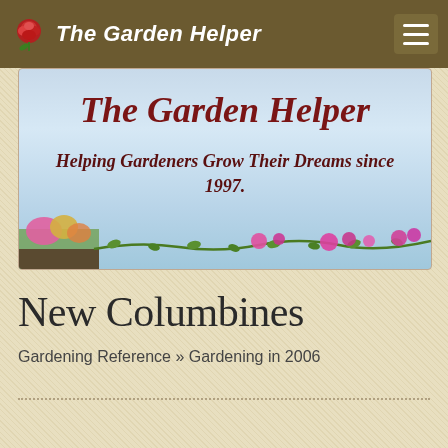The Garden Helper
[Figure (illustration): The Garden Helper website banner with sky background, title 'The Garden Helper' in italic bold dark red, subtitle 'Helping Gardeners Grow Their Dreams since 1997.' in italic bold, decorative flower vine border at bottom, and a garden scene with pink flowers at lower left]
New Columbines
Gardening Reference » Gardening in 2006